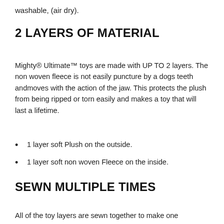washable, (air dry).
2 LAYERS OF MATERIAL
Mighty® Ultimate™ toys are made with UP TO 2 layers. The non woven fleece is not easily puncture by a dogs teeth andmoves with the action of the jaw. This protects the plush from being ripped or torn easily and makes a toy that will last a lifetime.
1 layer soft Plush on the outside.
1 layer soft non woven Fleece on the inside.
SEWN MULTIPLE TIMES
All of the toy layers are sewn together to make one